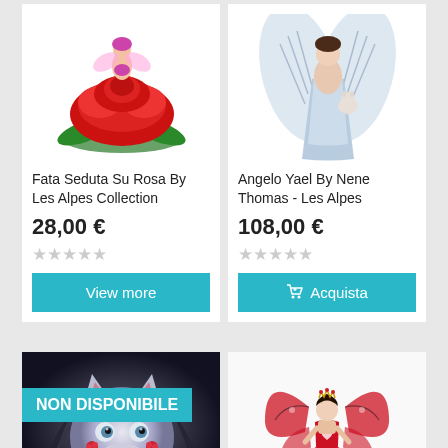[Figure (photo): Fairy figurine sitting on a red rose - Fata Seduta Su Rosa By Les Alpes Collection]
Fata Seduta Su Rosa By Les Alpes Collection
28,00 €
★★★★★ (empty stars)
View more
[Figure (photo): Angel figurine in blue dress with wings holding a cat - Angelo Yael By Nene Thomas - Les Alpes]
Angelo Yael By Nene Thomas - Les Alpes
108,00 €
★★★★★ (empty stars)
🛒 Acquista
[Figure (photo): Wolf with angel wings dark fantasy artwork - NON DISPONIBILE badge overlay]
NON DISPONIBILE
[Figure (photo): Red fairy figurine with butterfly wings and red heart dress]